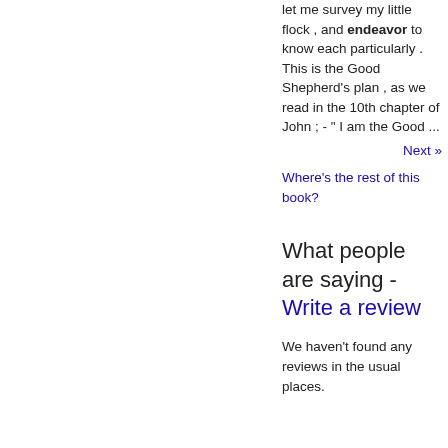let me survey my little flock , and endeavor to know each particularly . This is the Good Shepherd's plan , as we read in the 10th chapter of John ; - " I am the Good ...
Next »
Where's the rest of this book?
What people are saying - Write a review
We haven't found any reviews in the usual places.